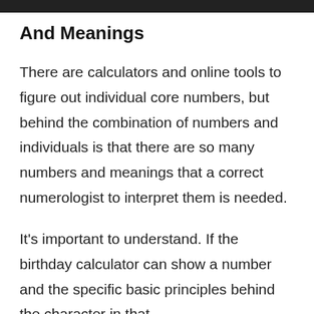And Meanings
There are calculators and online tools to figure out individual core numbers, but behind the combination of numbers and individuals is that there are so many numbers and meanings that a correct numerologist to interpret them is needed.
It's important to understand. If the birthday calculator can show a number and the specific basic principles behind the character in that